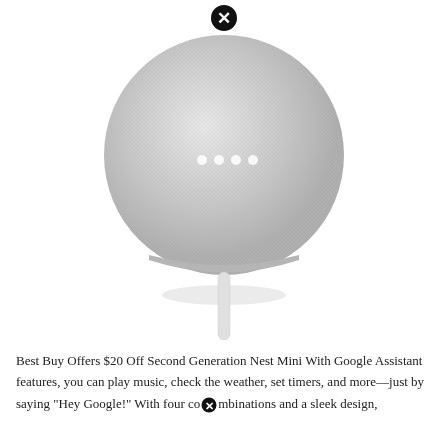[Figure (photo): Google Nest Mini smart speaker in chalk/light gray color, round puck shape with fabric cover and four white LED dots visible. A white power cable extends from the bottom. A black circle with white X close button icon appears at the top center of the device.]
Best Buy Offers $20 Off Second Generation Nest Mini With Google Assistant features, you can play music, check the weather, set timers, and more—just by saying "Hey Google!" With four co❌combinations and a sleek design,